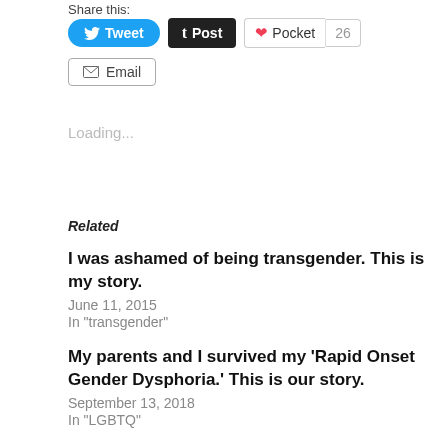Share this:
[Figure (screenshot): Social share buttons: Tweet (Twitter), Post (Tumblr), Pocket with count 26, and Email buttons]
Loading...
Related
I was ashamed of being transgender. This is my story.
June 11, 2015
In "transgender"
My parents and I survived my ‘Rapid Onset Gender Dysphoria.’ This is our story.
September 13, 2018
In "LGBTQ"
Starbucks, Please Don’t ‘Out’ Your Transgender Patrons